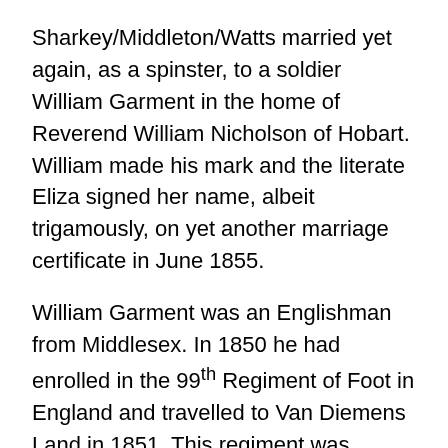Sharkey/Middleton/Watts married yet again, as a spinster, to a soldier William Garment in the home of Reverend William Nicholson of Hobart. William made his mark and the literate Eliza signed her name, albeit trigamously, on yet another marriage certificate in June 1855.
William Garment was an Englishman from Middlesex. In 1850 he had enrolled in the 99th Regiment of Foot in England and travelled to Van Diemens Land in 1851. This regiment was ordered back to England in 1855 and many members transferred to the 12th Regiment which allowed them to remain in Hobart. William was attached to Headquarters in Hobart as servant (batman) to the Brigade Major.
It's hard to comprehend that Eliza was still only 23 years old, but no longer the naïve young Irish girl who arrived on